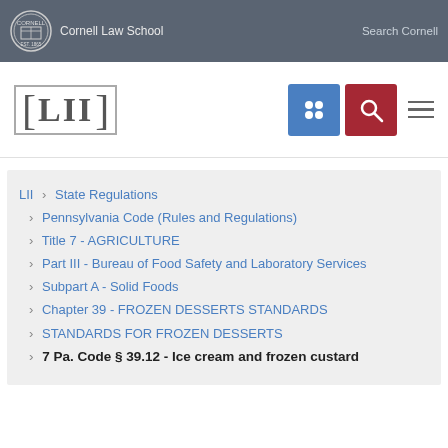Cornell Law School  Search Cornell
[Figure (logo): LII - Legal Information Institute logo with bracket design]
LII > State Regulations > Pennsylvania Code (Rules and Regulations) > Title 7 - AGRICULTURE > Part III - Bureau of Food Safety and Laboratory Services > Subpart A - Solid Foods > Chapter 39 - FROZEN DESSERTS STANDARDS > STANDARDS FOR FROZEN DESSERTS > 7 Pa. Code § 39.12 - Ice cream and frozen custard